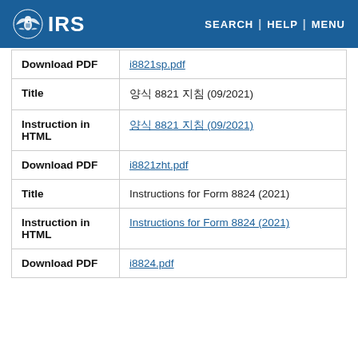IRS | SEARCH | HELP | MENU
| Field | Value |
| --- | --- |
| Download PDF | i8821sp.pdf |
| Title | 양식 8821 지침 (09/2021) |
| Instruction in HTML | 양식 8821 지침 (09/2021) |
| Download PDF | i8821zht.pdf |
| Title | Instructions for Form 8824 (2021) |
| Instruction in HTML | Instructions for Form 8824 (2021) |
| Download PDF | i8824.pdf |